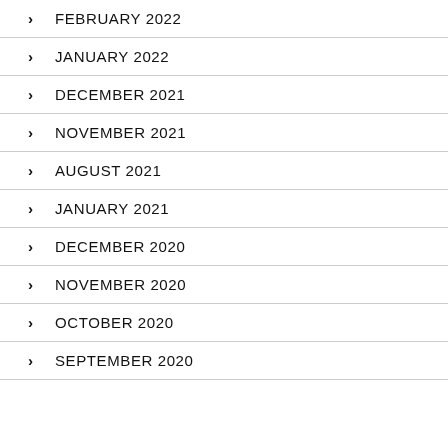FEBRUARY 2022
JANUARY 2022
DECEMBER 2021
NOVEMBER 2021
AUGUST 2021
JANUARY 2021
DECEMBER 2020
NOVEMBER 2020
OCTOBER 2020
SEPTEMBER 2020